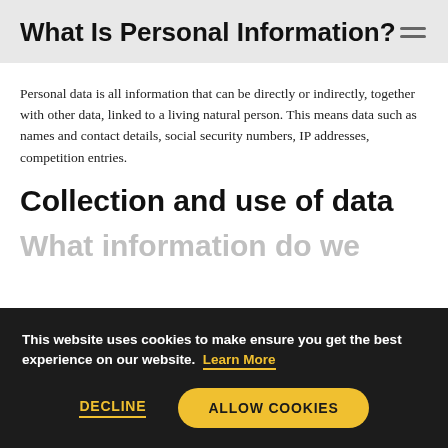What Is Personal Information?
Personal data is all information that can be directly or indirectly, together with other data, linked to a living natural person. This means data such as names and contact details, social security numbers, IP addresses, competition entries.
Collection and use of data
What information do we collect?
This website uses cookies to make ensure you get the best experience on our website. Learn More
DECLINE
ALLOW COOKIES